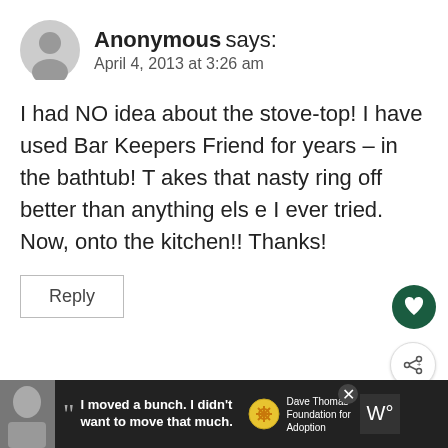Anonymous says:
April 4, 2013 at 3:26 am
I had NO idea about the stove-top! I have used Bar Keepers Friend for years – in the bathtub! Takes that nasty ring off better than anything else I ever tried. Now, onto the kitchen!! Thanks!
Reply
Angie at Postcards fro...
WHAT'S NEXT → How to clean stainless ste...
I moved a bunch. I didn't want to move that much.
Dave Thomas Foundation for Adoption